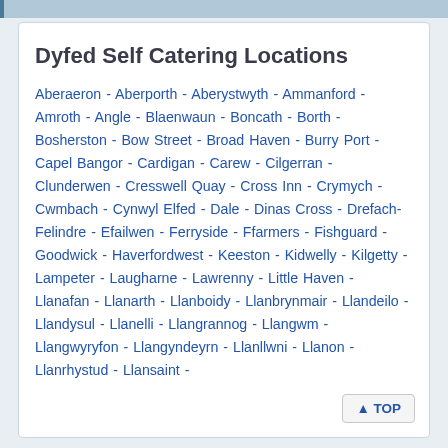Dyfed Self Catering Locations
Aberaeron - Aberporth - Aberystwyth - Ammanford - Amroth - Angle - Blaenwaun - Boncath - Borth - Bosherston - Bow Street - Broad Haven - Burry Port - Capel Bangor - Cardigan - Carew - Cilgerran - Clunderwen - Cresswell Quay - Cross Inn - Crymych - Cwmbach - Cynwyl Elfed - Dale - Dinas Cross - Drefach-Felindre - Efailwen - Ferryside - Ffarmers - Fishguard - Goodwick - Haverfordwest - Keeston - Kidwelly - Kilgetty - Lampeter - Laugharne - Lawrenny - Little Haven - Llanafan - Llanarth - Llanboidy - Llanbrynmair - Llandeilo - Llandysul - Llanelli - Llangrannog - Llangwm - Llangwyryfon - Llangyndeyrn - Llanllwni - Llanon - Llanrhystud - Llansaint -